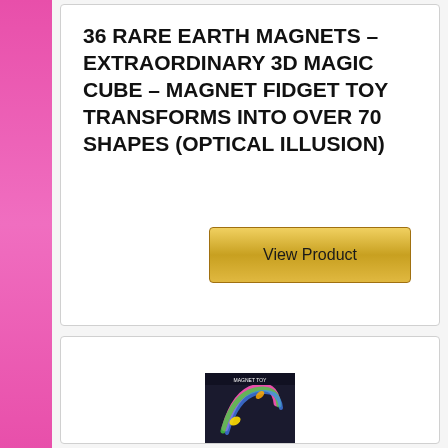36 RARE EARTH MAGNETS – EXTRAORDINARY 3D MAGIC CUBE – MAGNET FIDGET TOY TRANSFORMS INTO OVER 70 SHAPES (OPTICAL ILLUSION)
[Figure (other): Golden 'View Product' button]
[Figure (photo): Product image of colorful magnet toy at bottom of second card]